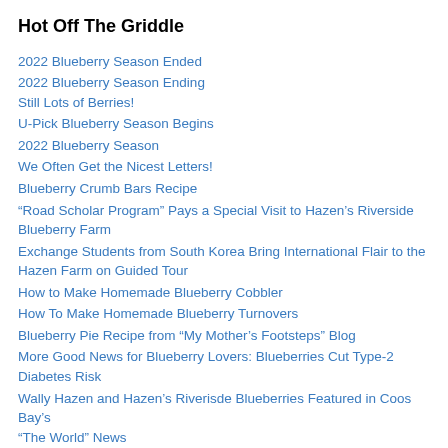Hot Off The Griddle
2022 Blueberry Season Ended
2022 Blueberry Season Ending Still Lots of Berries!
U-Pick Blueberry Season Begins
2022 Blueberry Season
We Often Get the Nicest Letters!
Blueberry Crumb Bars Recipe
“Road Scholar Program” Pays a Special Visit to Hazen’s Riverside Blueberry Farm
Exchange Students from South Korea Bring International Flair to the Hazen Farm on Guided Tour
How to Make Homemade Blueberry Cobbler
How To Make Homemade Blueberry Turnovers
Blueberry Pie Recipe from “My Mother’s Footsteps” Blog
More Good News for Blueberry Lovers: Blueberries Cut Type-2 Diabetes Risk
Wally Hazen and Hazen’s Riverisde Blueberries Featured in Coos Bay’s “The World” News